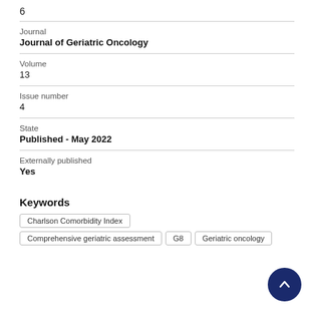6
Journal
Journal of Geriatric Oncology
Volume
13
Issue number
4
State
Published - May 2022
Externally published
Yes
Keywords
Charlson Comorbidity Index
Comprehensive geriatric assessment
G8
Geriatric oncology